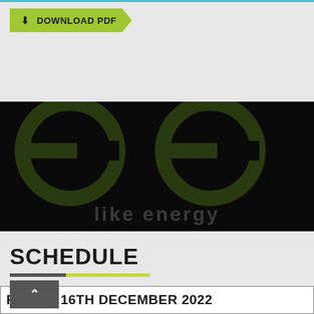[Figure (logo): Download PDF button with green arrow/download icon on yellow-green background with arrow-shaped right edge]
[Figure (logo): Dark black background with two large circular 'e' letter logos in dark olive/green color, and the text 'like energy' partially visible at the bottom in grey]
SCHEDULE
FRIDAY 16TH DECEMBER 2022